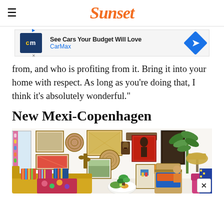Sunset
[Figure (other): CarMax advertisement banner: See Cars Your Budget Will Love - CarMax]
from, and who is profiting from it. Bring it into your home with respect. As long as you’re doing that, I think it’s absolutely wonderful.”
New Mexi-Copenhagen
[Figure (photo): Colorful eclectic living room with gallery wall featuring framed art, woven baskets, tribal masks, cacti decor, yellow sofa with striped pillows, floral blankets, rattan chairs with colorful cushions, tropical plant, and pink velvet chair]